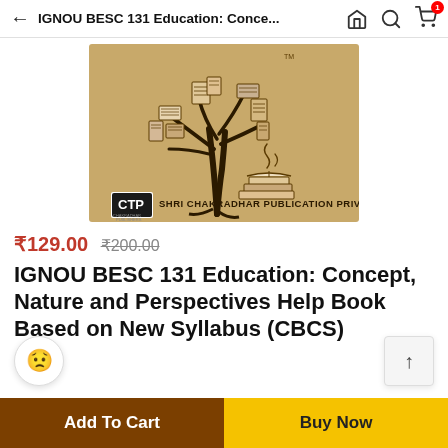IGNOU BESC 131 Education: Conce...
[Figure (photo): Book cover image showing a tree made of books and educational items on a tan/khaki background, with publisher logo and text 'SHRI CHAKRADHAR PUBLICATION PRIVATE LIMITED' at the bottom.]
₹129.00 ₹200.00
IGNOU BESC 131 Education: Concept, Nature and Perspectives Help Book Based on New Syllabus (CBCS)